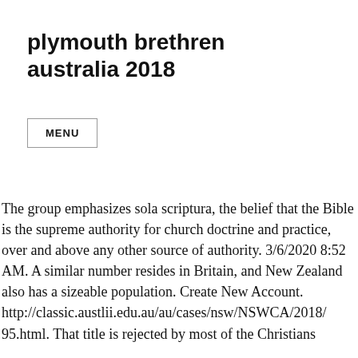plymouth brethren australia 2018
MENU
The group emphasizes sola scriptura, the belief that the Bible is the supreme authority for church doctrine and practice, over and above any other source of authority. 3/6/2020 8:52 AM. A similar number resides in Britain, and New Zealand also has a sizeable population. Create New Account. http://classic.austlii.edu.au/au/cases/nsw/NSWCA/2018/95.html. That title is rejected by most of the Christians